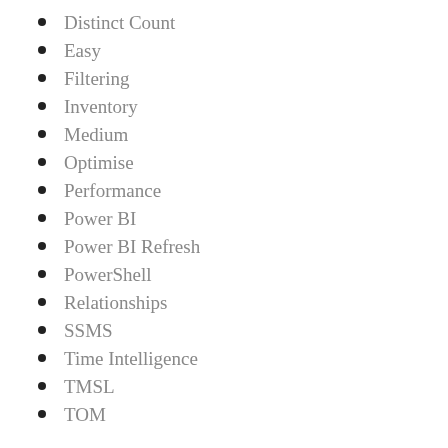Distinct Count
Easy
Filtering
Inventory
Medium
Optimise
Performance
Power BI
Power BI Refresh
PowerShell
Relationships
SSMS
Time Intelligence
TMSL
TOM